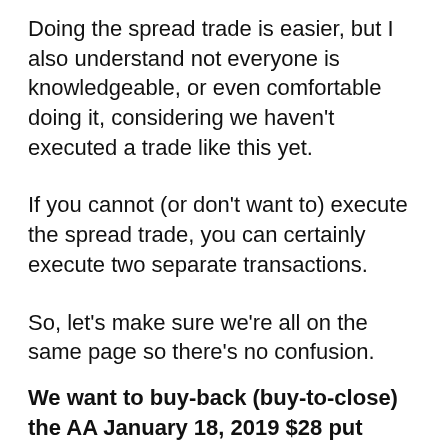Doing the spread trade is easier, but I also understand not everyone is knowledgeable, or even comfortable doing it, considering we haven't executed a trade like this yet.
If you cannot (or don't want to) execute the spread trade, you can certainly execute two separate transactions.
So, let's make sure we're all on the same page so there's no confusion.
We want to buy-back (buy-to-close) the AA January 18, 2019 $28 put options and sell (sell-to-open) the AA July 19, 2019 $25 put options.